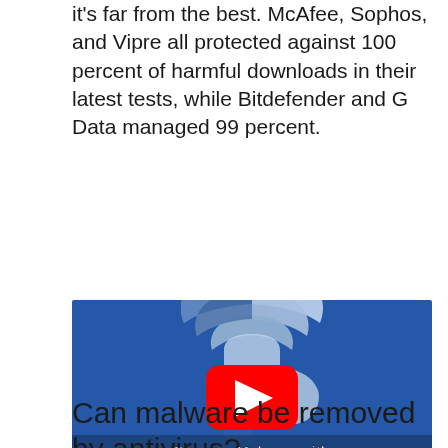it's far from the best. McAfee, Sophos, and Vipre all protected against 100 percent of harmful downloads in their latest tests, while Bitdefender and G Data managed 99 percent.
[Figure (screenshot): Video thumbnail showing F-Secure logo (shield shape in blue and white) on a blue background, with a red YouTube play button in the center. Text at the bottom reads 'Remove Malware with F-Secure Online Scanner' in bold white lettering.]
Can malware be removed by antivirus?